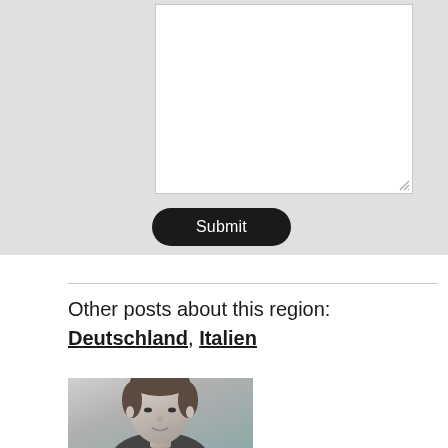[Figure (screenshot): A web form area with a large white textarea input box on a light grey background, with a resize handle in the bottom-right corner.]
[Figure (other): A black rounded Submit button.]
Other posts about this region:
Deutschland, Italien
[Figure (photo): A black and white portrait photo of a man's face, cropped, showing head and upper shoulders.]